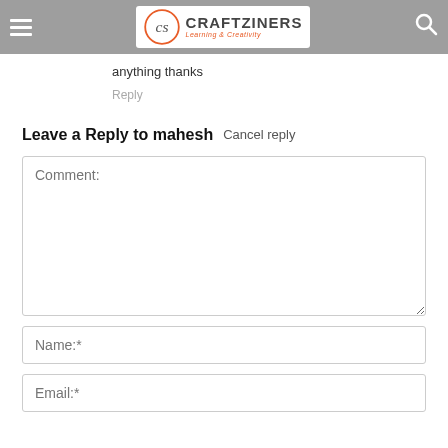CRAFTZINERS Learning & Creativity
anything thanks
Reply
Leave a Reply to mahesh  Cancel reply
Comment:
Name:*
Email:*